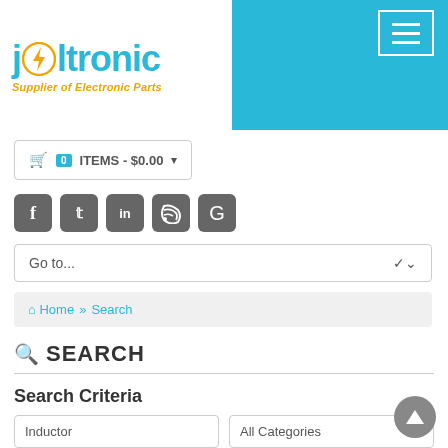[Figure (logo): Joltronic logo with lightning bolt in 'o', tagline: Supplier of Electronic Parts]
0 ITEMS - $0.00
[Figure (infographic): Social media icons: Facebook, Twitter, LinkedIn, RSS, Google]
Go to...
Home » Search
SEARCH
Search Criteria
Inductor
All Categories